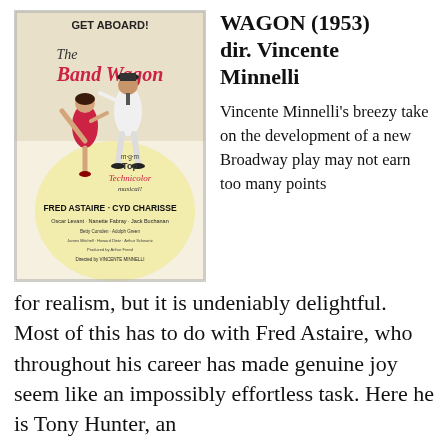[Figure (photo): Movie poster for The Band Wagon (1953), showing Fred Astaire and Cyd Charisse dancing. Text reads: GET ABOARD! The Band Wagon, m-g-m's Top Technicolor musical!, Fred Astaire, Cyd Charisse, Oscar Levant, Nanette Fabray, Jack Buchanan, directed by Vincente Minnelli, produced by Arthur Freed.]
WAGON (1953) dir. Vincente Minnelli
Vincente Minnelli's breezy take on the development of a new Broadway play may not earn too many points for realism, but it is undeniably delightful. Most of this has to do with Fred Astaire, who throughout his career has made genuine joy seem like an impossibly effortless task. Here he is Tony Hunter, an